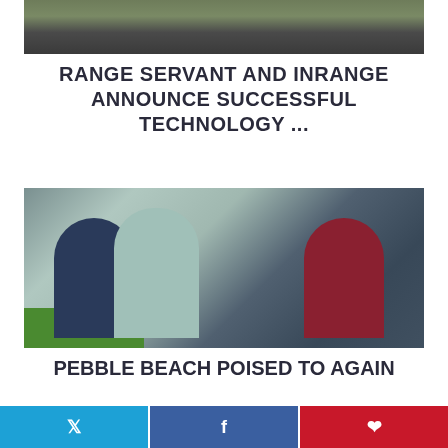[Figure (photo): Top photo showing outdoor scene with equipment and infrastructure]
RANGE SERVANT AND INRANGE ANNOUNCE SUCCESSFUL TECHNOLOGY ...
[Figure (photo): Three people walking on a golf course near Pebble Beach, one carrying a golf bag]
PEBBLE BEACH POISED TO AGAIN
Twitter | Facebook | Pinterest social sharing buttons